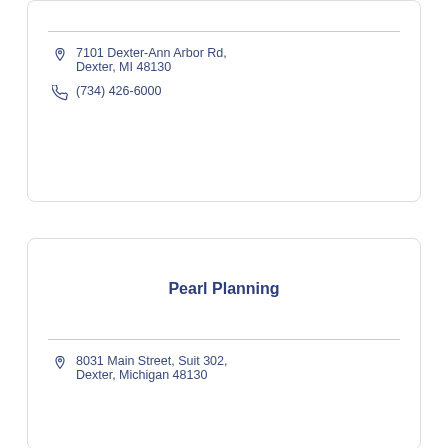7101 Dexter-Ann Arbor Rd, Dexter, MI 48130
(734) 426-6000
Pearl Planning
8031 Main Street, Suit 302, Dexter, Michigan 48130